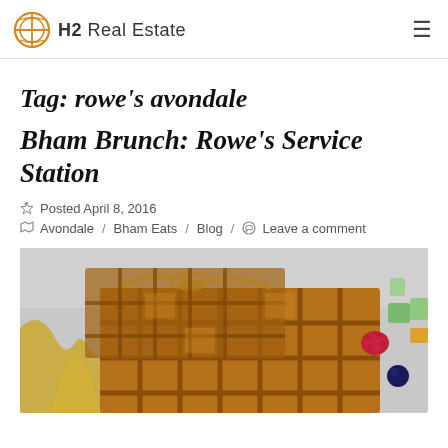H2 Real Estate
Tag: rowe's avondale
Bham Brunch: Rowe's Service Station
Posted April 8, 2016
Avondale / Bham Eats / Blog / Leave a comment
[Figure (photo): Close-up photo of golden waffles drizzled with syrup, with fresh fruit including berries and other pieces visible in the background, served on a plate.]